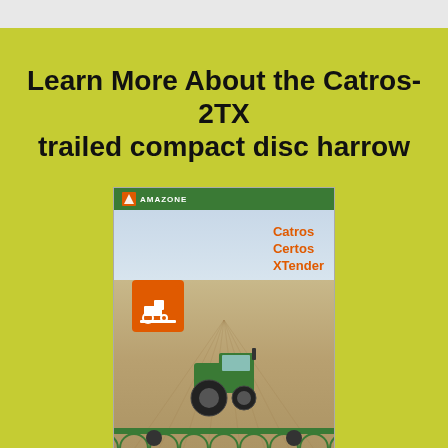Learn More About the Catros-2TX trailed compact disc harrow
[Figure (photo): Amazone brochure cover showing the Catros, Certos, XTender product line. Features a green tractor pulling a wide compact disc harrow across a field. The brochure header is green with the Amazone logo. Product names Catros, Certos, XTender are shown in orange text.]